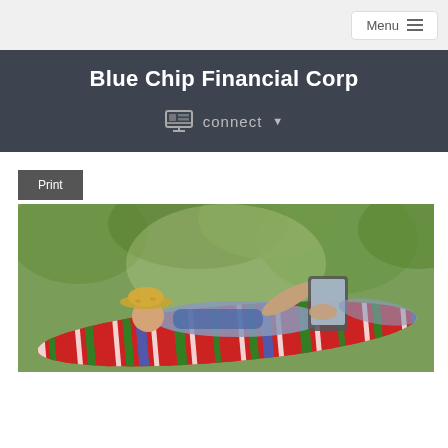Menu
Blue Chip Financial Corp
connect
Print
[Figure (photo): Person relaxing in a colorful striped hammock outdoors, wearing a straw hat and holding/using a tablet device, with green trees in the background]